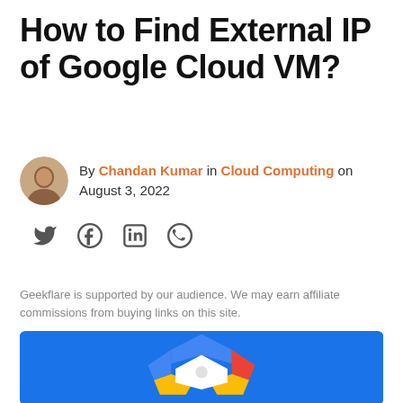How to Find External IP of Google Cloud VM?
By Chandan Kumar in Cloud Computing on August 3, 2022
[Figure (infographic): Social share icons: Twitter, Facebook, LinkedIn, WhatsApp]
Geekflare is supported by our audience. We may earn affiliate commissions from buying links on this site.
[Figure (illustration): Google Cloud logo on a blue background — colorful hexagonal cloud shape with white, blue, red, and yellow segments, white circle in center]